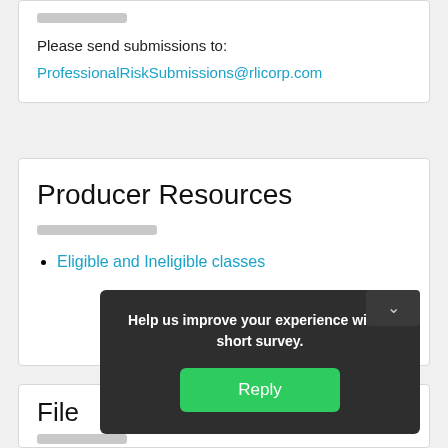[Figure (other): Gray placeholder bar at top of first card]
Please send submissions to:
ProfessionalRiskSubmissions@rlicorp.com
Producer Resources
[Figure (other): Gray placeholder bar below Producer Resources heading]
Eligible and Ineligible classes
File
[Figure (other): Gray placeholder bar below File heading]
Help us improve your experience with a short survey.
Reply